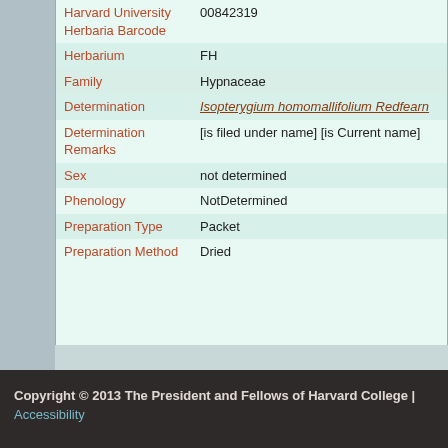| Field | Value |
| --- | --- |
| Harvard University Herbaria Barcode | 00842319 |
| Herbarium | FH |
| Family | Hypnaceae |
| Determination | Isopterygium homomallifolium Redfearn |
| Determination Remarks | [is filed under name] [is Current name] |
| Sex | not determined |
| Phenology | NotDetermined |
| Preparation Type | Packet |
| Preparation Method | Dried |
Copyright © 2013 The President and Fellows of Harvard College | Accessibility